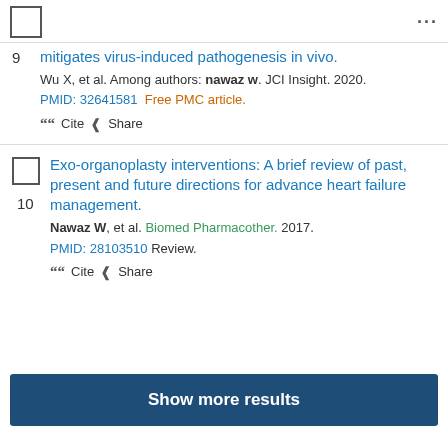mitigates virus-induced pathogenesis in vivo.
Wu X, et al. Among authors: nawaz w. JCI Insight. 2020.
PMID: 32641581 Free PMC article.
Cite   Share
Exo-organoplasty interventions: A brief review of past, present and future directions for advance heart failure management.
Nawaz W, et al. Biomed Pharmacother. 2017.
PMID: 28103510 Review.
Cite   Share
Show more results